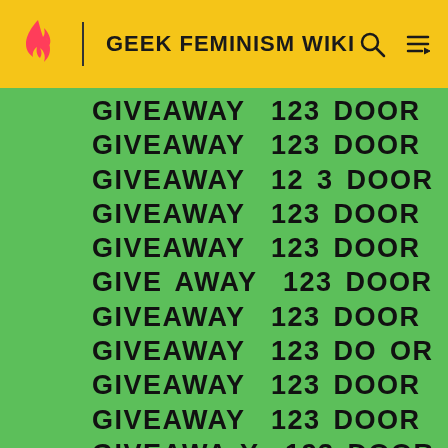GEEK FEMINISM WIKI
[Figure (other): Repeating text pattern on green background reading '123 DOOR GIVEAWAY' tiled across the entire content area]